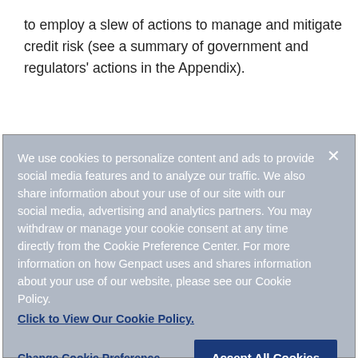to employ a slew of actions to manage and mitigate credit risk (see a summary of government and regulators' actions in the Appendix).
We use cookies to personalize content and ads to provide social media features and to analyze our traffic. We also share information about your use of our site with our social media, advertising and analytics partners. You may withdraw or manage your cookie consent at any time directly from the Cookie Preference Center. For more information on how Genpact uses and shares information about your use of our website, please see our Cookie Policy.
Click to View Our Cookie Policy.
Change Cookie Preference
Accept All Cookies